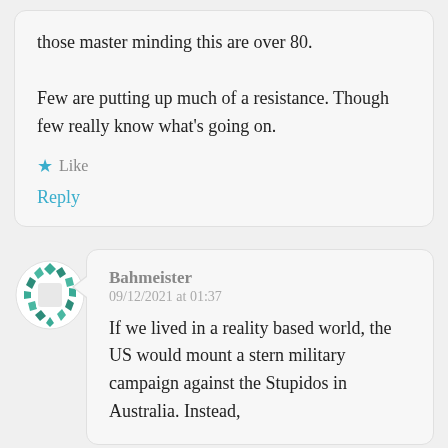those master minding this are over 80.
Few are putting up much of a resistance. Though few really know what's going on.
★ Like
Reply
Bahmeister
09/12/2021 at 01:37
If we lived in a reality based world, the US would mount a stern military campaign against the Stupidos in Australia. Instead,